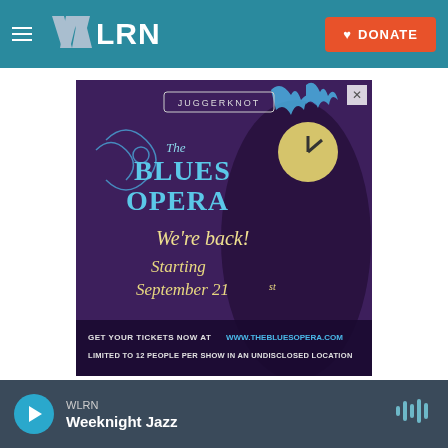[Figure (logo): WLRN public radio website header with teal navigation bar, WLRN logo in white, hamburger menu icon, and orange DONATE button with heart icon]
[Figure (illustration): Advertisement for The Blues Opera by Juggerknot. Purple background with blue flame decorations and cartoon character. Text reads: JUGGERKNOT, THE BLUES OPERA, We're back!, Starting September 21st, GET YOUR TICKETS NOW AT WWW.THEBLUESOPERA.COM, LIMITED TO 12 PEOPLE PER SHOW IN AN UNDISCLOSED LOCATION]
[Figure (other): WLRN audio player bar at bottom with teal play button, station name WLRN, show name Weeknight Jazz, and waveform audio icon]